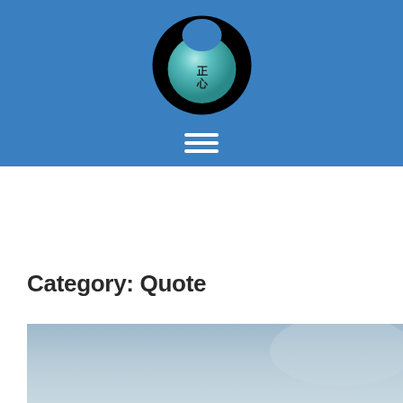[Figure (logo): Circular logo with black outer ring and teal/cyan inner sphere with Chinese characters 正心 in the center, on a blue background with a hamburger menu icon below]
Category: Quote
[Figure (photo): Partial photo of a pale blue-grey sky, cropped at bottom of page]